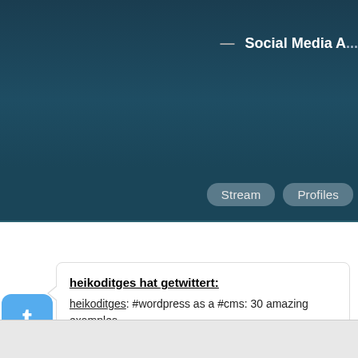Social Media A...
Stream   Profiles
heikoditges hat getwittert:
heikoditges: #wordpress as a #cms: 30 amazing examples - http://blogof.francescomugnai.com #wp
06.01.2010
1